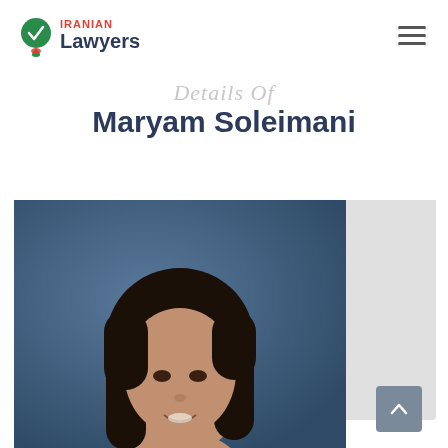Iranian Lawyers
Details Of
Maryam Soleimani
[Figure (photo): Professional headshot of Maryam Soleimani, a woman with long dark hair, smiling, against a blue-grey studio background. Photo is cropped at the shoulders.]